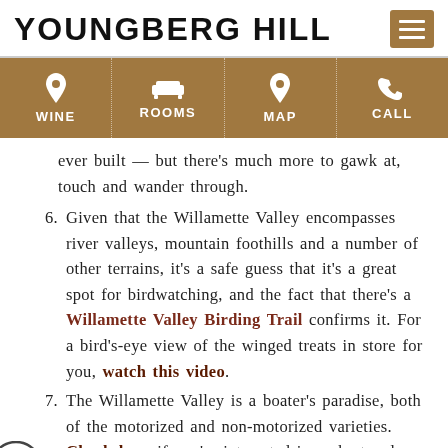YOUNGBERG HILL
[Figure (infographic): Navigation bar with four items: WINE (wine glass icon), ROOMS (bed icon), MAP (pin icon), CALL (phone icon) on a gold/tan background]
ever built — but there's much more to gawk at, touch and wander through.
6. Given that the Willamette Valley encompasses river valleys, mountain foothills and a number of other terrains, it's a safe guess that it's a great spot for birdwatching, and the fact that there's a Willamette Valley Birding Trail confirms it. For a bird's-eye view of the winged treats in store for you, watch this video.
7. The Willamette Valley is a boater's paradise, both of the motorized and non-motorized varieties. Check here if you're interested in a chartered boat or climb aboard cruise. Look